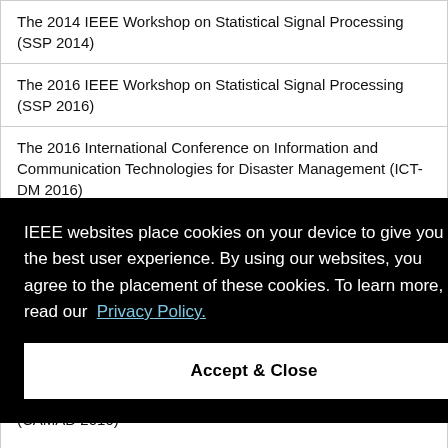The 2014 IEEE Workshop on Statistical Signal Processing (SSP 2014)
The 2016 IEEE Workshop on Statistical Signal Processing (SSP 2016)
The 2016 International Conference on Information and Communication Technologies for Disaster Management (ICT-DM 2016)
[partial] ...s and ...
[partial] ...d ...orks
[partial] (CAMAD 2016)
IEEE websites place cookies on your device to give you the best user experience. By using our websites, you agree to the placement of these cookies. To learn more, read our Privacy Policy.
Accept & Close